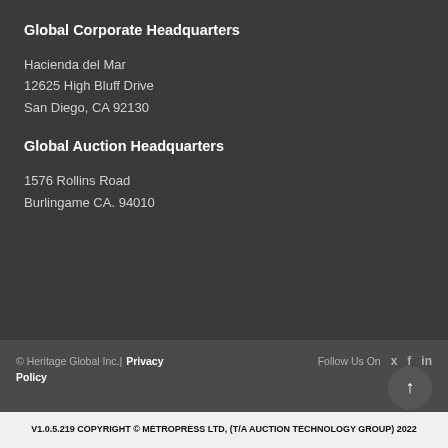Global Corporate Headquarters
Hacienda del Mar
12625 High Bluff Drive
San Diego, CA 92130
Global Auction Headquarters
1576 Rollins Road
Burlingame CA. 94010
© Heritage Global Inc. | Privacy Policy   Follow Us On
V1.0.5.219 COPYRIGHT © METROPRESS LTD, (T/A AUCTION TECHNOLOGY GROUP) 2022